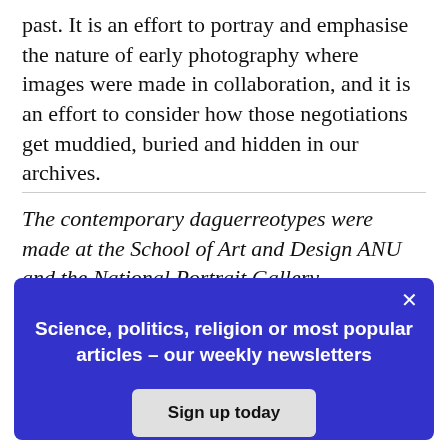past. It is an effort to portray and emphasise the nature of early photography where images were made in collaboration, and it is an effort to consider how those negotiations get muddied, buried and hidden in our archives.
The contemporary daguerreotypes were made at the School of Art and Design ANU and the National Portrait Gallery,
[Figure (screenshot): A modal popup with a blue/indigo background containing the text 'Science, politics, religion or most popular articles – our weekly newsletters' and a 'Sign up today' button. A close (×) button is in the top right corner.]